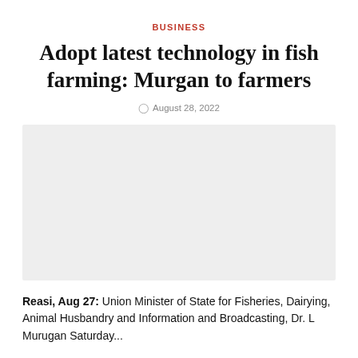BUSINESS
Adopt latest technology in fish farming: Murgan to farmers
August 28, 2022
[Figure (photo): Gray placeholder image for news article photo]
Reasi, Aug 27: Union Minister of State for Fisheries, Dairying, Animal Husbandry and Information and Broadcasting, Dr. L Murugan Saturday...